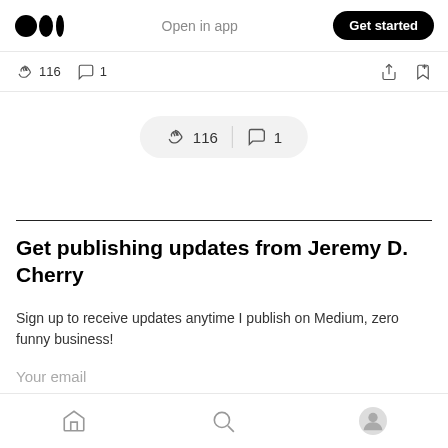Open in app  Get started
🤝 116  💬 1
[Figure (screenshot): Pill-shaped action bar showing clap icon with count 116 and comment icon with count 1]
Get publishing updates from Jeremy D. Cherry
Sign up to receive updates anytime I publish on Medium, zero funny business!
Your email
Home  Search  Profile